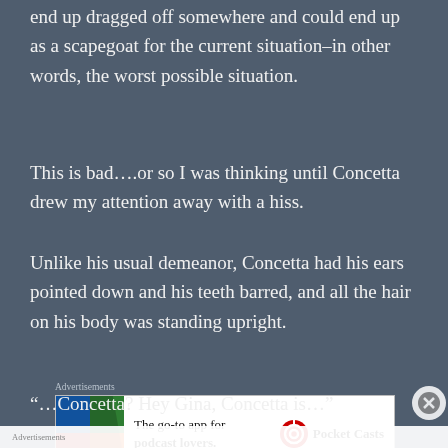end up dragged off somewhere and could end up as a scapegoat for the current situation–in other words, the worst possible situation.
This is bad….or so I was thinking until Concetta drew my attention away with a hiss.
Unlike his usual demeanor, Concetta had his ears pointed down and his teeth barred, and all the hair on his body was standing upright.
[Figure (infographic): Advertisement banner for Pocket Casts — 'The go-to app for podcast lovers.' with Pocket Casts logo and colorful tile graphic on the left.]
REPORT THIS AD
“…Concetta? Hey Gina, Concetta is…”
[Figure (infographic): Advertisement banner for WordPress VIP with social media app icons including Facebook in the background and 'Learn more →' button.]